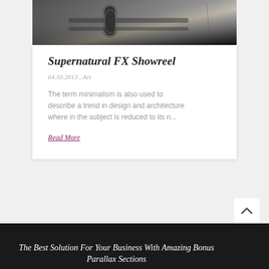[Figure (photo): Close-up photo of audio/recording equipment such as microphone or keyboard in dark tones with metallic highlights]
Supernatural FX Showreel
04.10.2013 , Art
The term minimalism is also used to describe a trend in design and architecture where in the subject is reduced to its n...
Read More
The Best Solution For Your Business With Amazing Bonus Parallax Sections